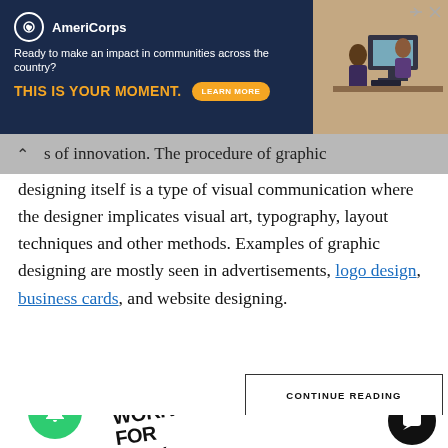[Figure (screenshot): AmeriCorps advertisement banner with dark navy background. Logo, text 'Ready to make an impact in communities across the country?', headline 'THIS IS YOUR MOMENT.' in orange, 'LEARN MORE' button, and a photo of people at computers on the right.]
s of innovation. The procedure of graphic designing itself is a type of visual communication where the designer implicates visual art, typography, layout techniques and other methods. Examples of graphic designing are mostly seen in advertisements, logo design, business cards, and website designing.
CONTINUE READING
[Figure (screenshot): Bottom of webpage showing a green notification bell button with red badge showing '1', a partial book cover with text 'WORK FOR MONEY,' visible, and a dark chat button on the right.]